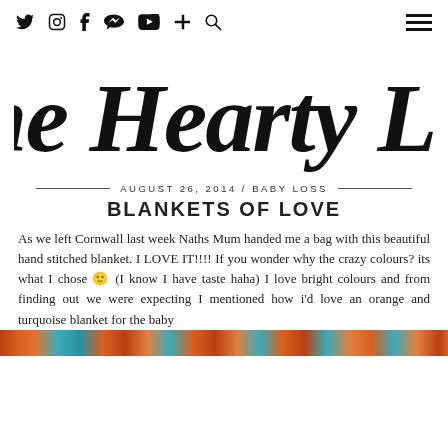Social icons: Twitter, Instagram, Facebook, Pinterest, YouTube, Plus, Search | Hamburger menu
The Hearty Life
AUGUST 26, 2014 / BABY LOSS
BLANKETS OF LOVE
As we left Cornwall last week Naths Mum handed me a bag with this beautiful hand stitched blanket. I LOVE IT!!!! If you wonder why the crazy colours? its what I chose 🙂 (I know I have taste haha) I love bright colours and from finding out we were expecting I mentioned how i'd love an orange and turquoise blanket for the baby
[Figure (photo): Close-up photo of a hand-stitched blanket in orange and turquoise colours, visible at the bottom of the page]